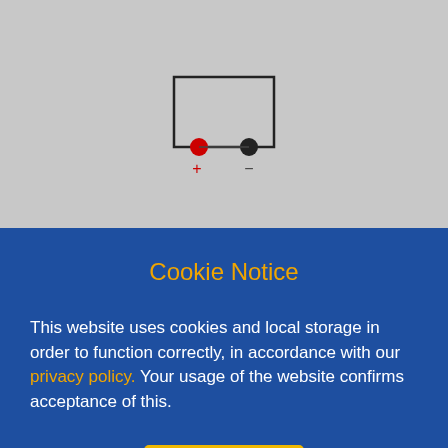[Figure (schematic): Battery/capacitor schematic symbol: a rectangle with a red filled circle (positive terminal) on the left and a black filled circle (negative terminal) on the right, with + and - labels below the terminals respectively.]
Cookie Notice
This website uses cookies and local storage in order to function correctly, in accordance with our privacy policy. Your usage of the website confirms acceptance of this.
Ok
Height exc. terms
Guarantee